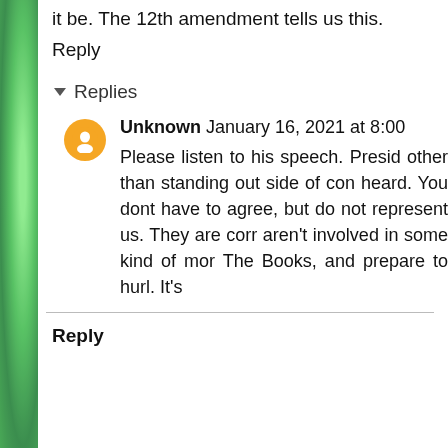it be. The 12th amendment tells us this.
Reply
▾ Replies
Unknown January 16, 2021 at 8:00
Please listen to his speech. Presi... other than standing out side of con... heard. You dont have to agree, but ... do not represent us. They are cor... aren't involved in some kind of mor... The Books, and prepare to hurl. It's
Reply